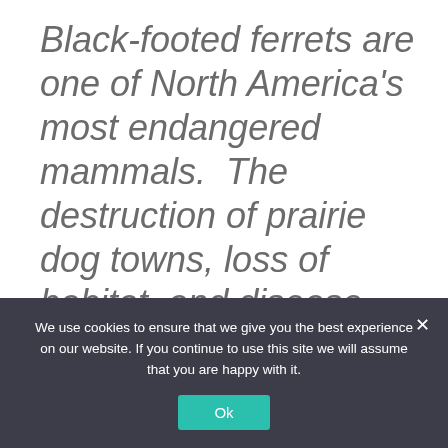Black-footed ferrets are one of North America's most endangered mammals.  The destruction of prairie dog towns, loss of habitat, and disease have all severely impacted ferrets.
Since 1986, the U.S. Fish and
We use cookies to ensure that we give you the best experience on our website. If you continue to use this site we will assume that you are happy with it.
Ok